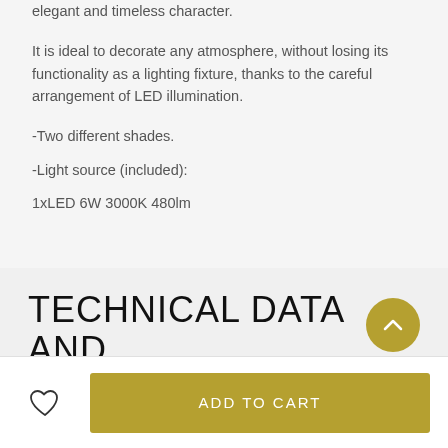of light and its drop of metallic joints, which deliver an elegant and timeless character.
It is ideal to decorate any atmosphere, without losing its functionality as a lighting fixture, thanks to the careful arrangement of LED illumination.
-Two different shades.
-Light source (included):
1xLED 6W 3000K 480lm
TECHNICAL DATA AND DOWNLOADS
ADD TO CART